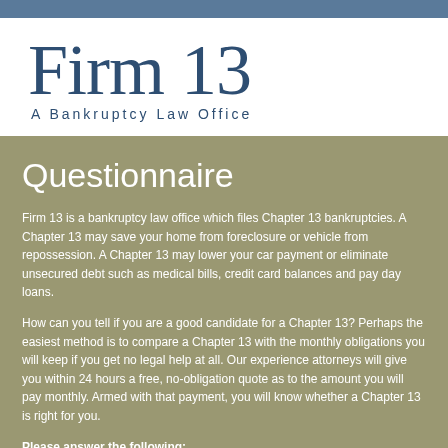Firm 13 A Bankruptcy Law Office
Questionnaire
Firm 13 is a bankruptcy law office which files Chapter 13 bankruptcies. A Chapter 13 may save your home from foreclosure or vehicle from repossession. A Chapter 13 may lower your car payment or eliminate unsecured debt such as medical bills, credit card balances and pay day loans.
How can you tell if you are a good candidate for a Chapter 13? Perhaps the easiest method is to compare a Chapter 13 with the monthly obligations you will keep if you get no legal help at all. Our experience attorneys will give you within 24 hours a free, no-obligation quote as to the amount you will pay monthly. Armed with that payment, you will know whether a Chapter 13 is right for you.
Please answer the following: